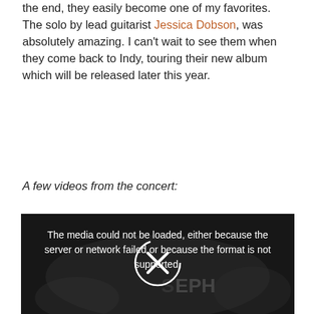the end, they easily become one of my favorites. The solo by lead guitarist Jessica Dobson, was absolutely amazing. I can't wait to see them when they come back to Indy, touring their new album which will be released later this year.
A few videos from the concert:
[Figure (screenshot): A dark, grainy concert photo used as video player background. The video player shows an error message: 'The media could not be loaded, either because the server or network failed or because the format is not supported.' with an X icon (error/close symbol) in a circle overlay. Partially visible text 'JOSEPH' on stage backdrop.]